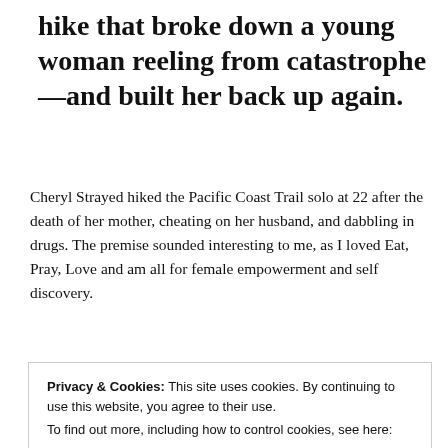hike that broke down a young woman reeling from catastrophe—and built her back up again.
Cheryl Strayed hiked the Pacific Coast Trail solo at 22 after the death of her mother, cheating on her husband, and dabbling in drugs. The premise sounded interesting to me, as I loved Eat, Pray, Love and am all for female empowerment and self discovery.
Privacy & Cookies: This site uses cookies. By continuing to use this website, you agree to their use.
To find out more, including how to control cookies, see here:
Cookie Policy
Close and accept
…ntially the…her life into oblivion. Cheryl…